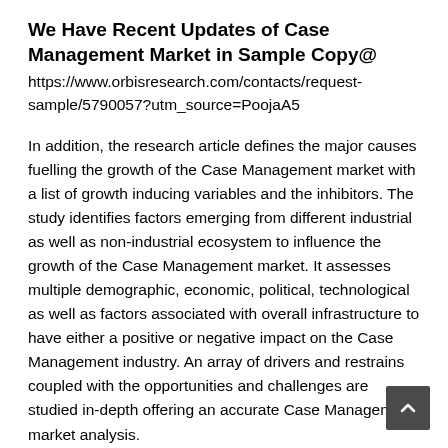We Have Recent Updates of Case Management Market in Sample Copy@
https://www.orbisresearch.com/contacts/request-sample/5790057?utm_source=PoojaA5
In addition, the research article defines the major causes fuelling the growth of the Case Management market with a list of growth inducing variables and the inhibitors. The study identifies factors emerging from different industrial as well as non-industrial ecosystem to influence the growth of the Case Management market. It assesses multiple demographic, economic, political, technological as well as factors associated with overall infrastructure to have either a positive or negative impact on the Case Management industry. An array of drivers and restrains coupled with the opportunities and challenges are studied in-depth offering an accurate Case Management market analysis.